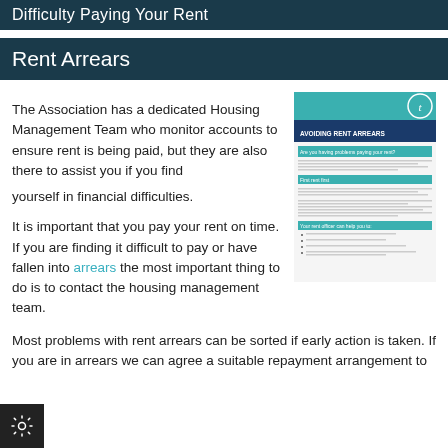Difficulty Paying Your Rent
Rent Arrears
The Association has a dedicated Housing Management Team who monitor accounts to ensure rent is being paid, but they are also there to assist you if you find yourself in financial difficulties.
It is important that you pay your rent on time. If you are finding it difficult to pay or have fallen into arrears the most important thing to do is to contact the housing management team.
[Figure (screenshot): A screenshot of a leaflet titled 'Avoiding Rent Arrears' with teal header and a circular logo, containing text about rent payment problems and bullet points.]
Most problems with rent arrears can be sorted if early action is taken. If you are in arrears we can agree a suitable repayment arrangement to